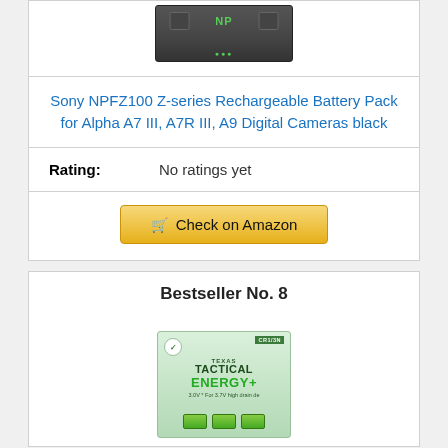[Figure (photo): Partial product image of Sony battery pack at top of page]
Sony NPFZ100 Z-series Rechargeable Battery Pack for Alpha A7 III, A7R III, A9 Digital Cameras black
Rating: No ratings yet
Check on Amazon
Bestseller No. 8
[Figure (photo): Tactical Energy+ CR1/3N battery product image in green packaging]